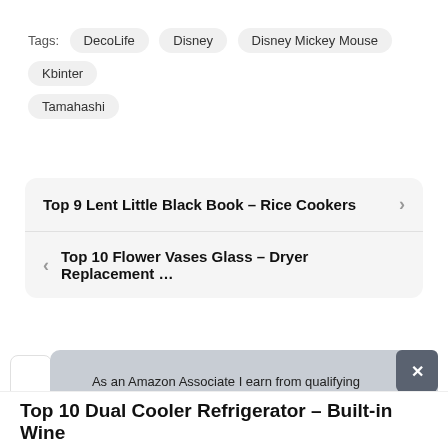Tags: DecoLife  Disney  Disney Mickey Mouse  Kbinter  Tamahashi
Top 9 Lent Little Black Book – Rice Cookers
Top 10 Flower Vases Glass – Dryer Replacement …
As an Amazon Associate I earn from qualifying purchases. This website uses the only necessary cookies to ensure you get the best experience on our website. More information
Top 10 Dual Cooler Refrigerator – Built-in Wine